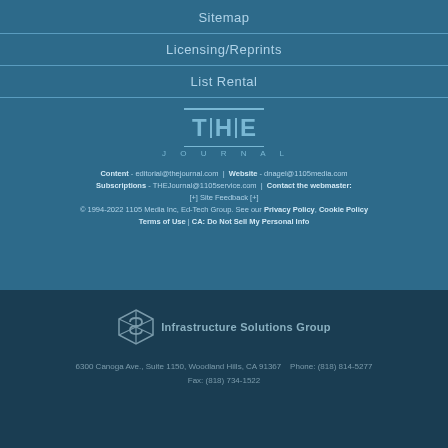Sitemap
Licensing/Reprints
List Rental
[Figure (logo): THE Journal logo with vertical bar separators between T, H, E letters and JOURNAL text below]
Content - editorial@thejournal.com | Website - dnagel@1105media.com Subscriptions - THEJournal@1105service.com | Contact the webmaster: [+] Site Feedback [+]
© 1994-2022 1105 Media Inc, Ed-Tech Group. See our Privacy Policy, Cookie Policy Terms of Use | CA: Do Not Sell My Personal Info
[Figure (logo): Infrastructure Solutions Group logo with geometric cube icon and company name]
6300 Canoga Ave., Suite 1150, Woodland Hills, CA 91367   Phone: (818) 814-5277 Fax: (818) 734-1522